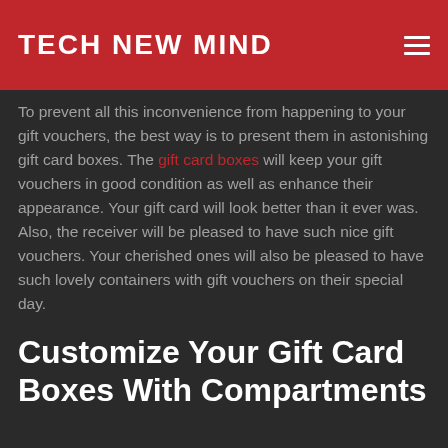TECH NEW MIND
To prevent all this inconvenience from happening to your gift vouchers, the best way is to present them in astonishing gift card boxes. The gift card boxes will keep your gift vouchers in good condition as well as enhance their appearance. Your gift card will look better than it ever was. Also, the receiver will be pleased to have such nice gift vouchers. Your cherished ones will also be pleased to have such lovely containers with gift vouchers on their special day.
Customize Your Gift Card Boxes With Compartments